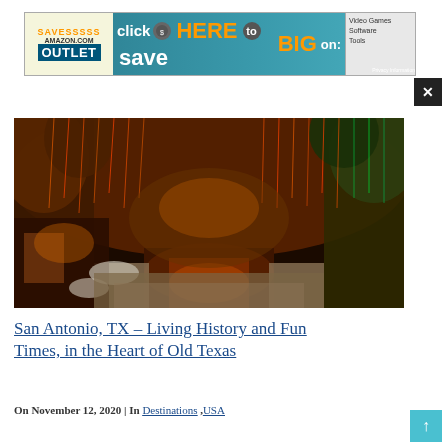[Figure (screenshot): Amazon.com Outlet advertisement banner: 'SAVESSSSS AMAZON.COM OUTLET click HERE to save BIG on: Video Games, Software, Tools' with teal background and orange text]
[Figure (photo): San Antonio River Walk at night with colorful lights hanging from trees, illuminating a canal/river with walkways on both sides. Warm orange and red tones from Christmas/holiday lights reflecting on the water.]
San Antonio, TX – Living History and Fun Times, in the Heart of Old Texas
On November 12, 2020 | In Destinations ,USA